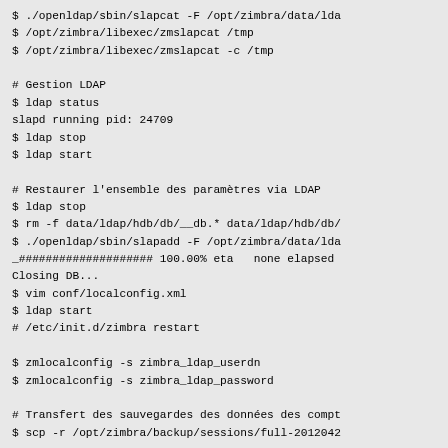$ ./openldap/sbin/slapcat -F /opt/zimbra/data/lda
$ /opt/zimbra/libexec/zmslapcat /tmp
$ /opt/zimbra/libexec/zmslapcat -c /tmp

# Gestion LDAP
$ ldap status
slapd running pid: 24709
$ ldap stop
$ ldap start

# Restaurer l'ensemble des paramètres via LDAP
$ ldap stop
$ rm -f data/ldap/hdb/db/__db.* data/ldap/hdb/db/
$ ./openldap/sbin/slapadd -F /opt/zimbra/data/lda
_#################### 100.00% eta   none elapsed
Closing DB...
$ vim conf/localconfig.xml
$ ldap start
# /etc/init.d/zimbra restart

$ zmlocalconfig -s zimbra_ldap_userdn
$ zmlocalconfig -s zimbra_ldap_password

# Transfert des sauvegardes des données des compt
$ scp -r /opt/zimbra/backup/sessions/full-2012042